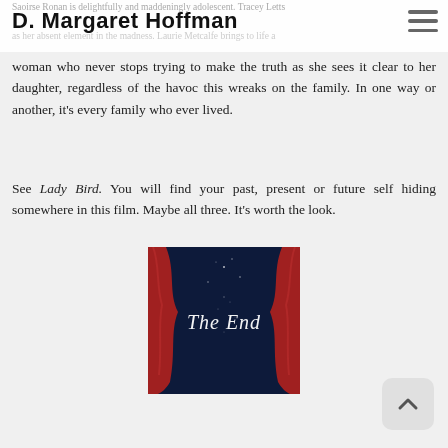D. Margaret Hoffman
Saoirse Ronan is delightfully and maddeningly adolescent. Tracey Letts as her absent element in the madness. Laurie Metcalfe brings to life a woman who never stops trying to make the truth as she sees it clear to her daughter, regardless of the havoc this wreaks on the family. In one way or another, it's every family who ever lived.
See Lady Bird. You will find your past, present or future self hiding somewhere in this film. Maybe all three. It's worth the look.
[Figure (illustration): Theater curtains parting to reveal blue starry background with script text 'The End' in white cursive lettering]